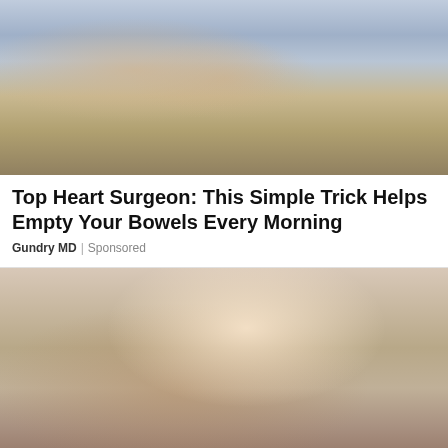[Figure (photo): A doctor or health professional in a suit pointing at eggs balanced on an ice pack tray, with a person holding the tray. Advertisement image for Gundry MD.]
Top Heart Surgeon: This Simple Trick Helps Empty Your Bowels Every Morning
Gundry MD | Sponsored
[Figure (photo): A woman with highlighted hair drinking from a glass jar with a straw, appearing to drink a smoothie or health drink. Background shows blurred market or food setting.]